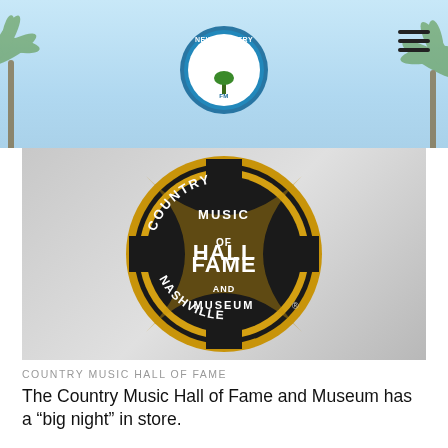New Country 103.1
[Figure (logo): Country Music Hall of Fame and Museum circular logo in gold and black, with text COUNTRY MUSIC HALL OF FAME AND MUSEUM NASHVILLE, registered trademark symbol]
COUNTRY MUSIC HALL OF FAME
The Country Music Hall of Fame and Museum has a “big night” in store.
The Nashville-based institution is hosting an all-star virtual fundraiser, BIG NIGHT (At the Museum), that features a variety of artists performing on instruments straight out of the museum